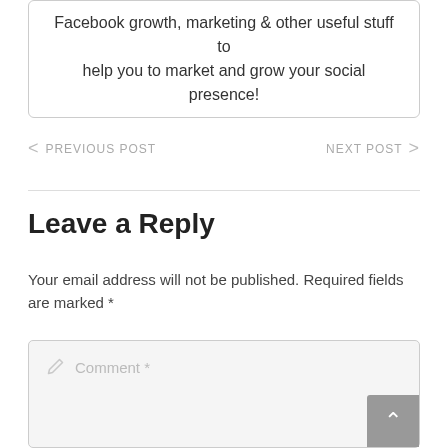Facebook growth, marketing & other useful stuff to help you to market and grow your social presence!
< PREVIOUS POST
NEXT POST >
Leave a Reply
Your email address will not be published. Required fields are marked *
Comment *